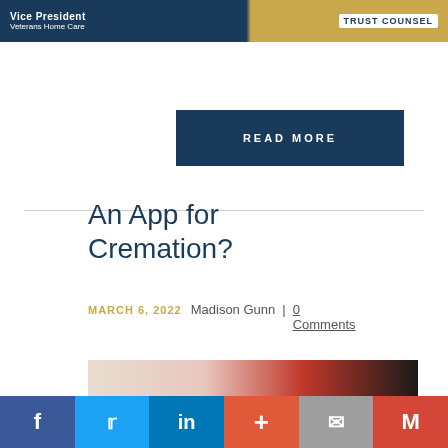[Figure (photo): Banner advertisement for Veterans Home Care with Trust Counsel branding, dark navy blue and gold color scheme]
READ MORE
An App for Cremation?
MARCH 6, 2022   Madison Gunn  |  0 Comments
[Figure (photo): Partial image showing flowers and dark background related to cremation article]
[Figure (infographic): Social sharing bar with Facebook, Twitter, LinkedIn, Google Plus, Email, and Gmail buttons]